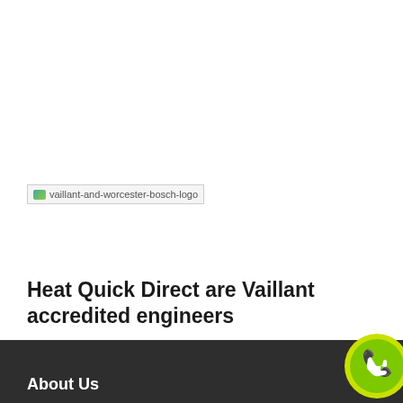[Figure (logo): Vaillant and Worcester Bosch logo placeholder image]
Heat Quick Direct are Vaillant accredited engineers
Heat Quick Direct is accredited by all the major gas boiler trade bodies, such as Gas Safe and we are approved G3 unvented hot water storage engineers approved by Worcester as accredited engineers and we are approved advanced Vaillant engineers.
About Us